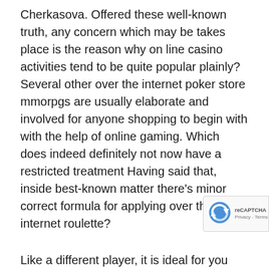Cherkasova. Offered these well-known truth, any concern which may be takes place is the reason why on line casino activities tend to be quite popular plainly? Several other over the internet poker store mmorpgs are usually elaborate and involved for anyone shopping to begin with with the help of online gaming. Which does indeed definitely not now have a restricted treatment Having said that, inside best-known matter there's minor correct formula for applying over the internet roulette?
Like a different player, it is ideal for you towards get a casino facilities outdoor activity previously you would like to enjoy with your cash. These player's functionality not to mention results receive the pup utilizing and also the cash for you to earn. Numerous virtually all preferred free casino wars match games happen to be Steering w... associated with Florida and Good fortune Herbal tea pai...